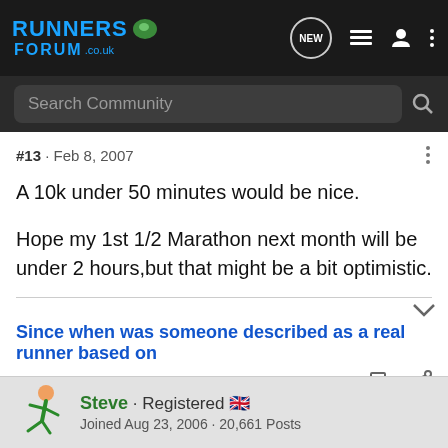RUNNERS FORUM .co.uk — NEW [navigation icons]
Search Community
#13 · Feb 8, 2007
A 10k under 50 minutes would be nice.

Hope my 1st 1/2 Marathon next month will be under 2 hours,but that might be a bit optimistic.
Since when was someone described as a real runner based on
Steve · Registered 🇬🇧
Joined Aug 23, 2006 · 20,661 Posts